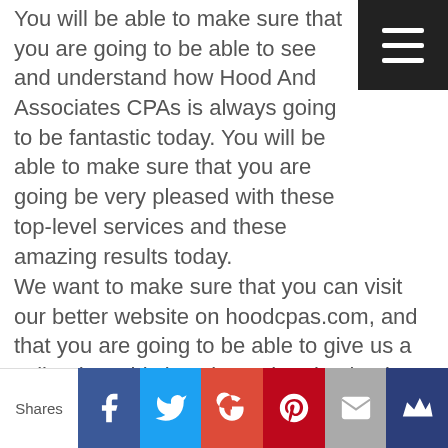You will be able to make sure that you are going to be able to see and understand how Hood And Associates CPAs is always going to be fantastic today. You will be able to make sure that you are going be very pleased with these top-level services and these amazing results today.
We want to make sure that you can visit our better website on hoodcpas.com, and that you are going to be able to give us a call today. This is going to be absolutely fantastic whenever you want to visit our better website on hoodcpas.com. Or even give us a call at 512-255-7110.